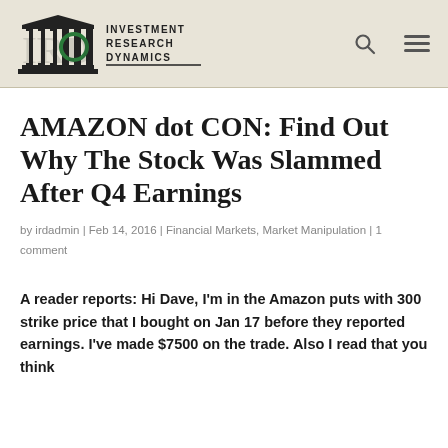Investment Research Dynamics
AMAZON dot CON: Find Out Why The Stock Was Slammed After Q4 Earnings
by irdadmin | Feb 14, 2016 | Financial Markets, Market Manipulation | 1 comment
A reader reports: Hi Dave, I'm in the Amazon puts with 300 strike price that I bought on Jan 17 before they reported earnings. I've made $7500 on the trade. Also I read that you think